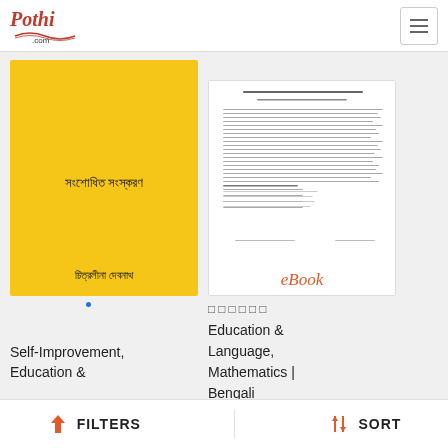[Figure (logo): Pothi.com logo with red italic text and decorative underline]
[Figure (illustration): Hamburger menu icon (three horizontal lines) in bordered box]
[Figure (illustration): Yellow book cover with Bengali title and author name]
[Figure (illustration): White eBook card showing text preview page with 'eBook' label in orange]
•
Self-Improvement, Education &
□□□□□□
Education & Language, Mathematics | Bengali
FILTERS
SORT